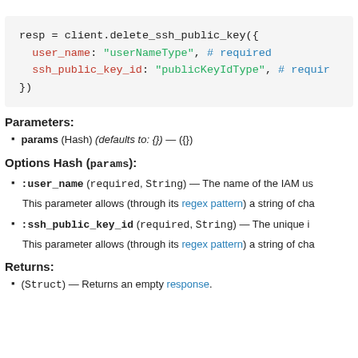[Figure (screenshot): Code block showing Ruby snippet: resp = client.delete_ssh_public_key({ user_name: "userNameType", # required, ssh_public_key_id: "publicKeyIdType", # requir... })]
Parameters:
params (Hash) (defaults to: {}) — ({})
Options Hash (params):
:user_name (required, String) — The name of the IAM us...
This parameter allows (through its regex pattern) a string of cha...
:ssh_public_key_id (required, String) — The unique i...
This parameter allows (through its regex pattern) a string of cha...
Returns:
(Struct) — Returns an empty response.